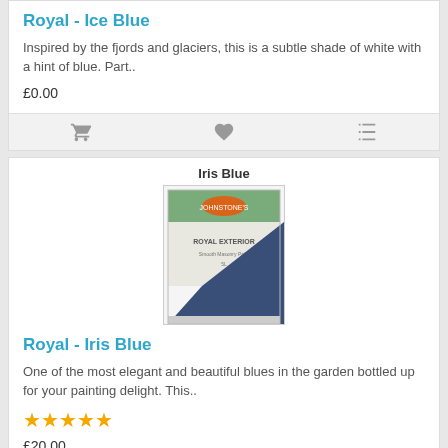Royal - Ice Blue
Inspired by the fjords and glaciers, this is a subtle shade of white with a hint of blue. Part..
£0.00
[Figure (other): Action bar with cart, heart, and compare icons]
[Figure (photo): Product image of Iris Blue paint tin with blue color swatch]
Iris Blue
Royal - Iris Blue
One of the most elegant and beautiful blues in the garden bottled up for your painting delight. This..
★★★★★
£20.00
[Figure (other): Action bar with cart, heart, and compare icons]
Mondin Mist